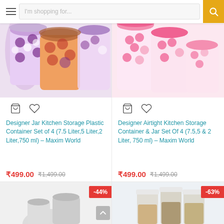I'm shopping for...
[Figure (photo): Designer Jar Kitchen Storage Plastic Container Set of 4 with purple dot pattern lids]
[Figure (photo): Designer Airtight Kitchen Storage Container & Jar Set Of 4 with pink floral pattern]
Designer Jar Kitchen Storage Plastic Container Set of 4 (7.5 Liter,5 Liter,2 Liter,750 ml) – Maxim World
₹499.00  ₹1,499.00
Designer Airtight Kitchen Storage Container & Jar Set Of 4 (7.5,5 & 2 Liter, 750 ml) – Maxim World
₹499.00  ₹1,499.00
[Figure (photo): Partial product image with -44% discount badge]
[Figure (photo): Partial product image with -63% discount badge showing storage containers]